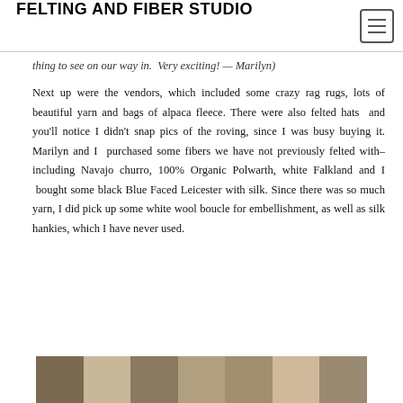FELTING AND FIBER STUDIO
thing to see on our way in.  Very exciting! — Marilyn)
Next up were the vendors, which included some crazy rag rugs, lots of beautiful yarn and bags of alpaca fleece. There were also felted hats  and you'll notice I didn't snap pics of the roving, since I was busy buying it. Marilyn and I  purchased some fibers we have not previously felted with–including Navajo churro, 100% Organic Polwarth, white Falkland and I  bought some black Blue Faced Leicester with silk. Since there was so much yarn, I did pick up some white wool boucle for embellishment, as well as silk hankies, which I have never used.
[Figure (photo): A strip of photos at the bottom of the page showing vendor items at the fiber festival.]